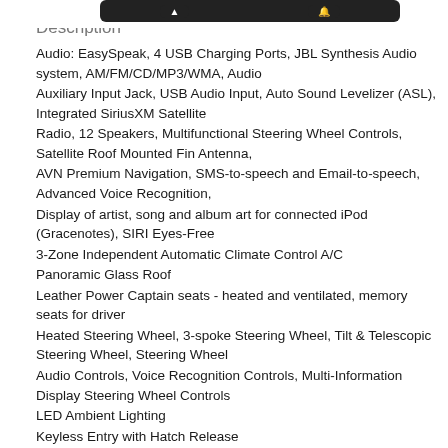Description
Audio: EasySpeak, 4 USB Charging Ports, JBL Synthesis Audio system, AM/FM/CD/MP3/WMA, Audio
Auxiliary Input Jack, USB Audio Input, Auto Sound Levelizer (ASL), Integrated SiriusXM Satellite
Radio, 12 Speakers, Multifunctional Steering Wheel Controls, Satellite Roof Mounted Fin Antenna,
AVN Premium Navigation, SMS-to-speech and Email-to-speech, Advanced Voice Recognition,
Display of artist, song and album art for connected iPod (Gracenotes), SIRI Eyes-Free
3-Zone Independent Automatic Climate Control A/C
Panoramic Glass Roof
Leather Power Captain seats - heated and ventilated, memory seats for driver
Heated Steering Wheel, 3-spoke Steering Wheel, Tilt & Telescopic Steering Wheel, Steering Wheel
Audio Controls, Voice Recognition Controls, Multi-Information Display Steering Wheel Controls
LED Ambient Lighting
Keyless Entry with Hatch Release
Integrated Garage Door Opener
Smart Key System with push button start
Toyota Safety Sense P: Pre-Collision System, Pre-Collision System with Pedestrian Detection, Auto
High Beam, Dynamic Radar Cruise Control (High speed), Lane Departure Alert with Steering Assist
Star Safety System: Smart Stop Technology (SST), Vehicle Stability Control